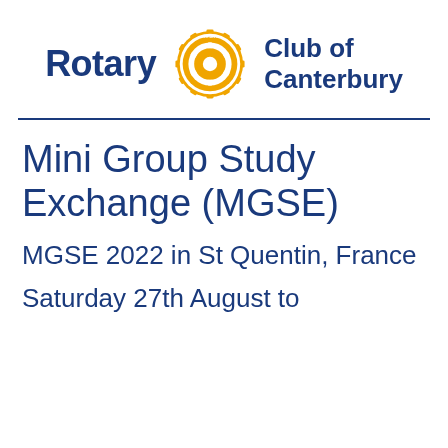[Figure (logo): Rotary Club of Canterbury logo with Rotary wheel emblem in gold/orange, 'Rotary' text in bold dark blue on left, 'Club of Canterbury' text in bold dark blue on right]
Mini Group Study Exchange (MGSE)
MGSE 2022 in St Quentin, France
Saturday 27th August to